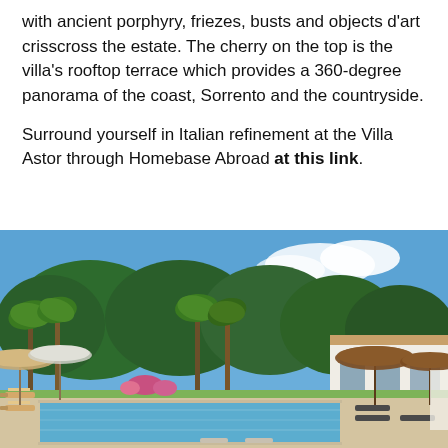with ancient porphyry, friezes, busts and objects d'art crisscross the estate. The cherry on the top is the villa's rooftop terrace which provides a 360-degree panorama of the coast, Sorrento and the countryside.
Surround yourself in Italian refinement at the Villa Astor through Homebase Abroad at this link.
[Figure (photo): Outdoor swimming pool surrounded by sun loungers with umbrellas, lush green trees including palm trees, and a white villa building on the right, under a blue sky.]